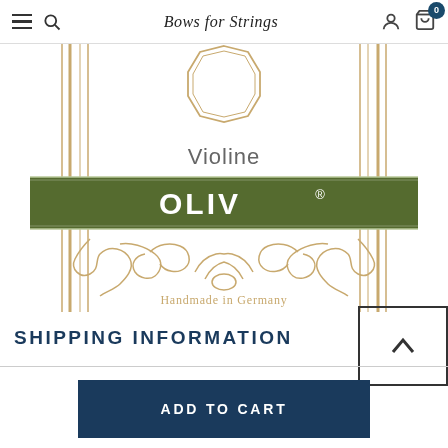Bows for Strings
[Figure (photo): Pirastro Oliv violin string package label. Shows decorative golden ornamental border with columns, an octagonal badge at top, text 'Violine' in grey, green banner with 'OLIV®' in white, and 'Handmade in Germany' at bottom.]
SHIPPING INFORMATION
ADD TO CART